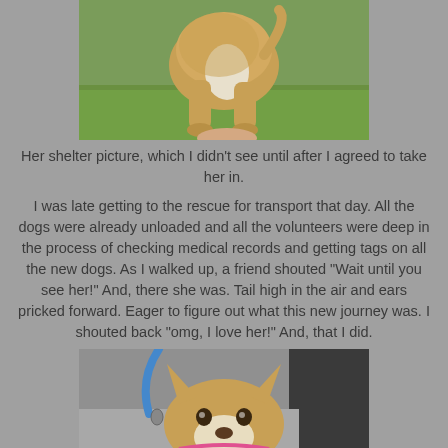[Figure (photo): A dog photographed from behind/side, showing its tan and white coloring, sitting on green grass. The dog's rear end and hind legs are visible, with someone's hand visible at the bottom edge.]
Her shelter picture, which I didn't see until after I agreed to take her in.
I was late getting to the rescue for transport that day. All the dogs were already unloaded and all the volunteers were deep in the process of checking medical records and getting tags on all the new dogs. As I walked up, a friend shouted "Wait until you see her!" And, there she was. Tail high in the air and ears pricked forward. Eager to figure out what this new journey was. I shouted back "omg, I love her!" And, that I did.
[Figure (photo): A tan and white dog with perked ears looking up at the camera, being held on a blue leash with a pink harness, photographed outdoors on a sunny day.]